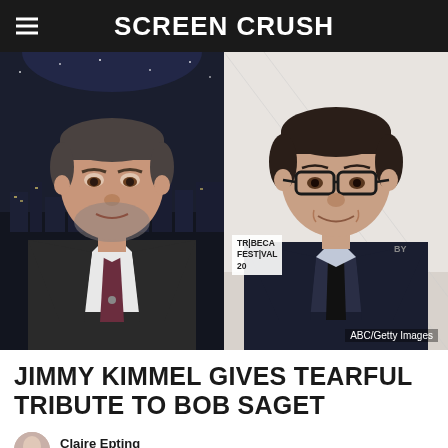SCREEN CRUSH
[Figure (photo): Split photo: left side shows Jimmy Kimmel in a dark suit on his late night show set with city skyline background; right side shows Bob Saget in a dark suit and glasses at the Tribeca Festival. Photo credit: ABC/Getty Images]
JIMMY KIMMEL GIVES TEARFUL TRIBUTE TO BOB SAGET
Claire Epting
Published: January 10, 2022